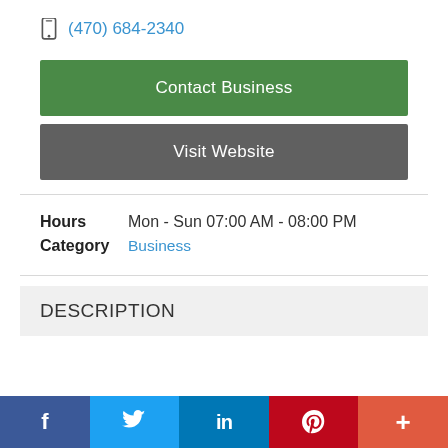(470) 684-2340
Contact Business
Visit Website
Hours   Mon - Sun 07:00 AM - 08:00 PM
Category   Business
DESCRIPTION
f  Twitter  in  Pinterest  +